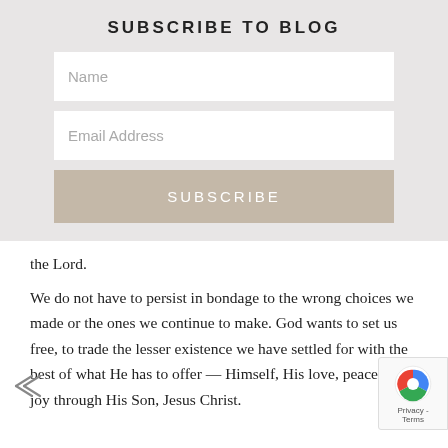SUBSCRIBE TO BLOG
[Figure (screenshot): Name input field placeholder]
[Figure (screenshot): Email Address input field placeholder]
[Figure (screenshot): Subscribe button]
the Lord.
We do not have to persist in bondage to the wrong choices we made or the ones we continue to make. God wants to set us free, to trade the lesser existence we have settled for with the best of what He has to offer — Himself, His love, peace, and joy through His Son, Jesus Christ.